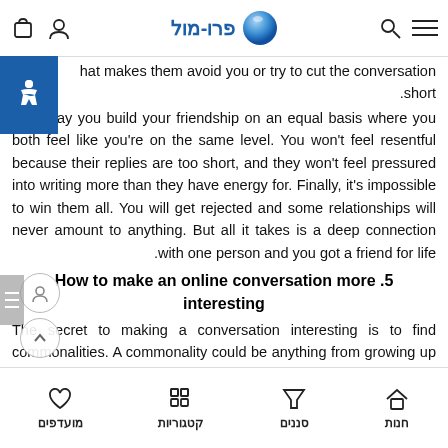פרו-מול [website header with logo globe, search, menu, bag, user icons]
that makes them avoid you or try to cut the conversation short.
That way you build your friendship on an equal basis where you both feel like you're on the same level. You won't feel resentful because their replies are too short, and they won't feel pressured into writing more than they have energy for. Finally, it's impossible to win them all. You will get rejected and some relationships will never amount to anything. But all it takes is a deep connection with one person and you got a friend for life.
5. How to make an online conversation more interesting
The secret to making a conversation interesting is to find commonalities. A commonality could be anything from growing up in the same city, to sharing the same passion for role-
חנות  סננים  קטגוריות  מועדפים